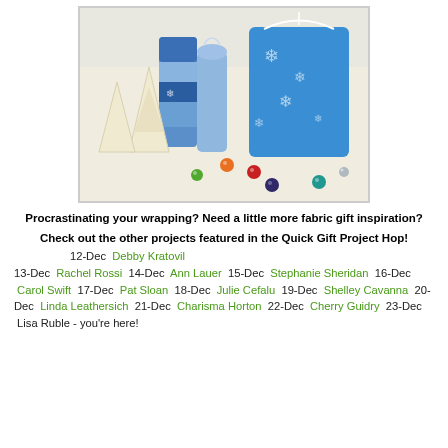[Figure (photo): Photo of blue snowflake fabric gift bags and wrapped tubes/cylinders with colorful glass marble ornaments, set on a white background with cream yarn Christmas trees.]
Procrastinating your wrapping? Need a little more fabric gift inspiration?
Check out the other projects featured in the Quick Gift Project Hop!
12-Dec  Debby Kratovil
13-Dec  Rachel Rossi  14-Dec  Ann Lauer  15-Dec  Stephanie Sheridan  16-Dec  Carol Swift  17-Dec  Pat Sloan  18-Dec  Julie Cefalu  19-Dec  Shelley Cavanna  20-Dec  Linda Leathersich  21-Dec  Charisma Horton  22-Dec  Cherry Guidry  23-Dec  Lisa Ruble - you're here!